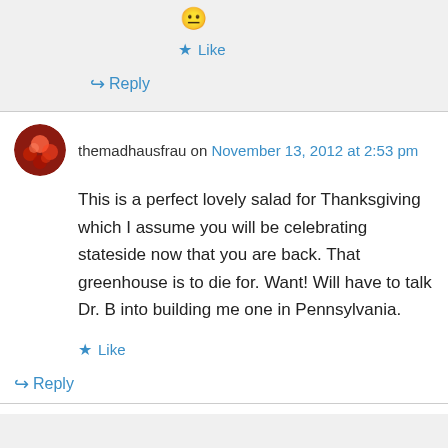😐
★ Like
↪ Reply
themadhausfrau on November 13, 2012 at 2:53 pm
This is a perfect lovely salad for Thanksgiving which I assume you will be celebrating stateside now that you are back. That greenhouse is to die for. Want! Will have to talk Dr. B into building me one in Pennsylvania.
★ Like
↪ Reply